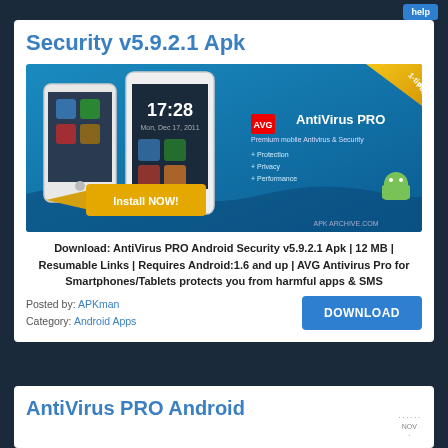Security v5.9.2.1 Apk
[Figure (screenshot): AVG AntiVirus PRO advertisement banner showing smartphones with Android security app, 'Install NOW!' button, and '1-time Payment' badge]
Download: AntiVirus PRO Android Security v5.9.2.1 Apk | 12 MB | Resumable Links | Requires Android:1.6 and up | AVG Antivirus Pro for Smartphones/Tablets protects you from harmful apps & SMS
Posted by: APKman
Category: Android Apps
DOWNLOAD
AntiVirus PRO Android